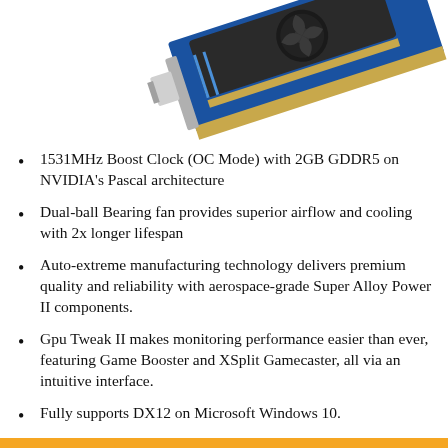[Figure (photo): Partial image of a blue ASUS graphics card (GPU) shown at an angle against a white background, with visible PCIe connector and cooling components.]
1531MHz Boost Clock (OC Mode) with 2GB GDDR5 on NVIDIA's Pascal architecture
Dual-ball Bearing fan provides superior airflow and cooling with 2x longer lifespan
Auto-extreme manufacturing technology delivers premium quality and reliability with aerospace-grade Super Alloy Power II components.
Gpu Tweak II makes monitoring performance easier than ever, featuring Game Booster and XSplit Gamecaster, all via an intuitive interface.
Fully supports DX12 on Microsoft Windows 10.